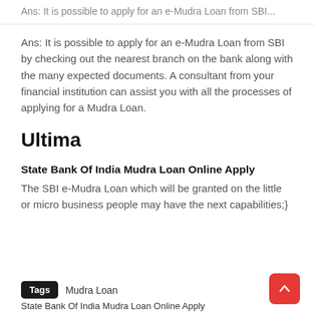Ans: It is possible to apply for an e-Mudra Loan from SBI by checking out the nearest branch on the bank along with the many expected documents. A consultant from your financial institution can assist you with all the processes of applying for a Mudra Loan.
Ultima
State Bank Of India Mudra Loan Online Apply
The SBI e-Mudra Loan which will be granted on the little or micro business people may have the next capabilities;}
Tags  Mudra Loan
State Bank Of India Mudra Loan Online Apply